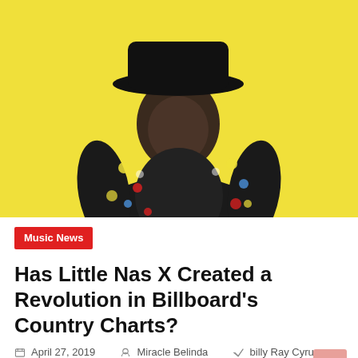[Figure (photo): Young man wearing a wide-brimmed black hat and a dark jacket with colorful patches/pins, posing against a bright yellow background.]
Music News
Has Little Nas X Created a Revolution in Billboard's Country Charts?
April 27, 2019   Miracle Belinda   billy Ray Cyrus, countrymusic, countrytrap, Dave East, Hip Hop, hiphop,